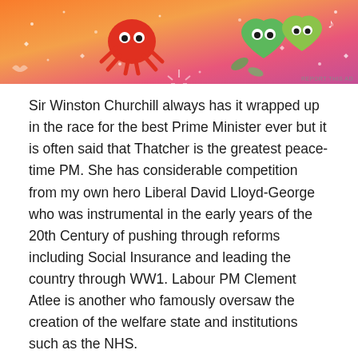[Figure (illustration): Colorful advertisement banner with orange-to-pink gradient background featuring cartoon illustrations of a sun/crab character and green heart/leaf characters with decorative dots and sparkles. 'REPORT THIS AD' text in bottom right.]
Sir Winston Churchill always has it wrapped up in the race for the best Prime Minister ever but it is often said that Thatcher is the greatest peace-time PM. She has considerable competition from my own hero Liberal David Lloyd-George who was instrumental in the early years of the 20th Century of pushing through reforms including Social Insurance and leading the country through WW1. Labour PM Clement Atlee is another who famously oversaw the creation of the welfare state and institutions such as the NHS.
“I don’t mind how much my ministers talk, as long as they do what I say.”